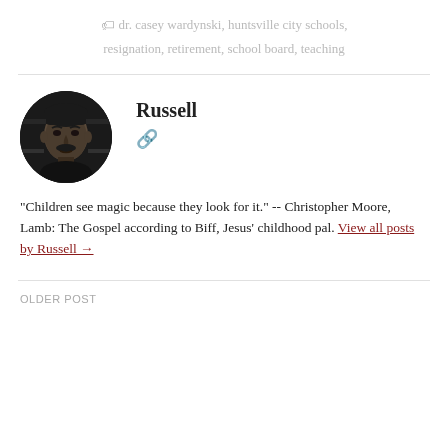dr. casey wardynski, huntsville city schools, resignation, retirement, school board, teaching
[Figure (photo): Black and white circular portrait photo of Russell, a middle-aged man with a mustache]
Russell
"Children see magic because they look for it." -- Christopher Moore, Lamb: The Gospel according to Biff, Jesus' childhood pal. View all posts by Russell →
OLDER POST